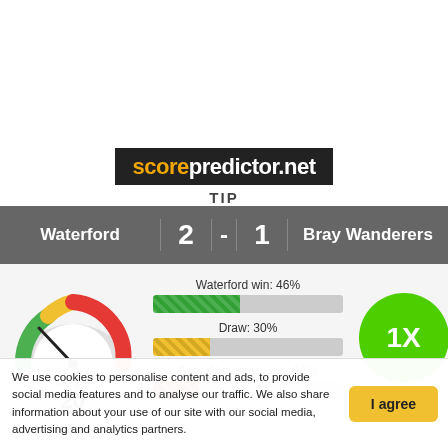[Figure (logo): scorepredictor.net TIP logo on dark background]
Waterford 2 - 1 Bray Wanderers
[Figure (infographic): Gauge showing weight 20, probability bars: Waterford win 46%, Draw 30%, Bray Wanderers win 24%, and 1X badge]
We use cookies to personalise content and ads, to provide social media features and to analyse our traffic. We also share information about your use of our site with our social media, advertising and analytics partners.
I agree